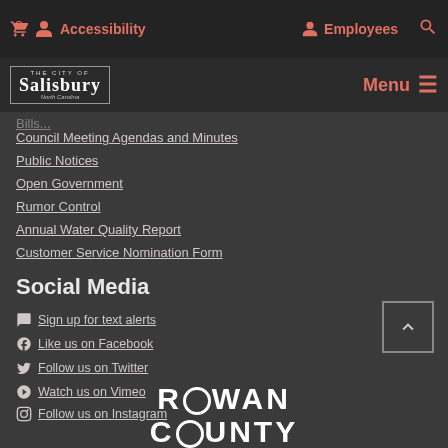Accessibility   Employees   Search
[Figure (logo): City of Salisbury, North Carolina logo with Menu button]
Council Meeting Agendas and Minutes
Public Notices
Open Government
Rumor Control
Annual Water Quality Report
Customer Service Nomination Form
Social Media
Sign up for text alerts
Like us on Facebook
Follow us on Twitter
Watch us on Vimeo
Follow us on Instagram
Join the Nextdoor conversation
[Figure (logo): Rowan County logo in white text]